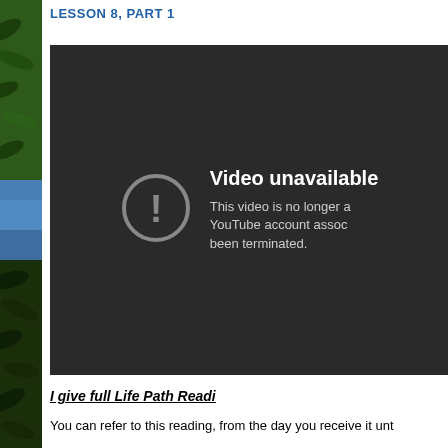LESSON 8, PART 1
[Figure (screenshot): YouTube video unavailable error screen on dark background with exclamation mark icon and text: 'Video unavailable. This video is no longer available because the YouTube account associated with this video has been terminated.']
I give full Life Path Readi
You can refer to this reading, from the day you receive it unt